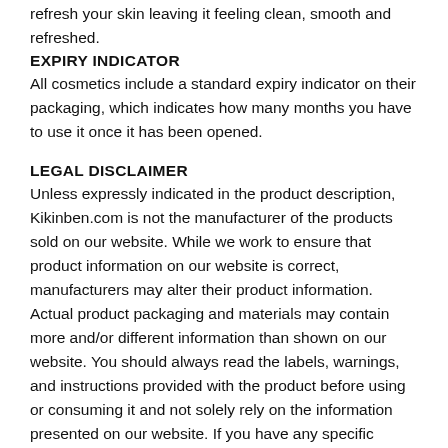refresh your skin leaving it feeling clean, smooth and refreshed.
EXPIRY INDICATOR
All cosmetics include a standard expiry indicator on their packaging, which indicates how many months you have to use it once it has been opened.
LEGAL DISCLAIMER
Unless expressly indicated in the product description, Kikinben.com is not the manufacturer of the products sold on our website. While we work to ensure that product information on our website is correct, manufacturers may alter their product information. Actual product packaging and materials may contain more and/or different information than shown on our website. You should always read the labels, warnings, and instructions provided with the product before using or consuming it and not solely rely on the information presented on our website. If you have any specific product queries, please contact the manufacturer. This